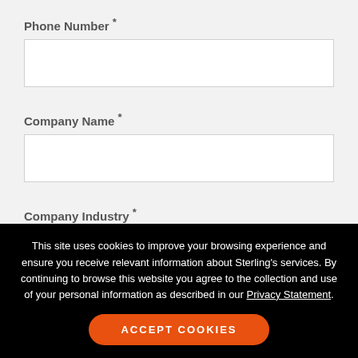Phone Number *
Company Name *
Company Industry *
This site uses cookies to improve your browsing experience and ensure you receive relevant information about Sterling's services. By continuing to browse this website you agree to the collection and use of your personal information as described in our Privacy Statement.
ACCEPT COOKIES